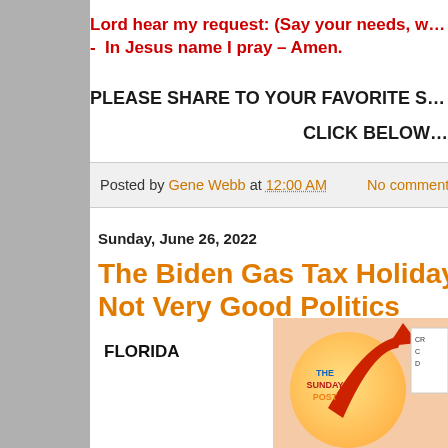Lord hear my request: (Say your needs, w…
-  In Jesus name I pray – Amen.
PLEASE SHARE TO YOUR FAVORITE S…
CLICK BELOW…
Posted by Gene Webb at 12:00 AM   No comments:
Sunday, June 26, 2022
The Biden Gas Tax Holiday I… Not Very Good Politics
FLORIDA
[Figure (logo): The Sunday Post logo with colorful text and red arrow on orange/yellow background]